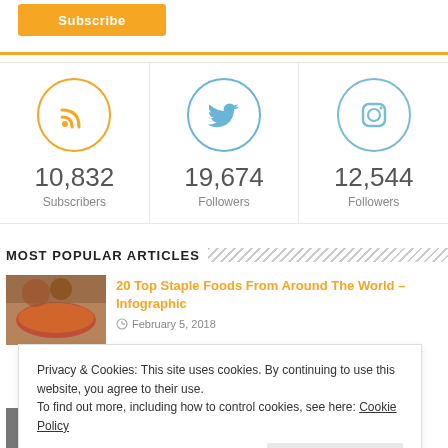[Figure (screenshot): Subscribe button (orange)]
[Figure (infographic): Social media stats: RSS 10,832 Subscribers; Twitter 19,674 Followers; Instagram 12,544 Followers]
MOST POPULAR ARTICLES
[Figure (photo): Thumbnail of food/pizza image]
20 Top Staple Foods From Around The World – Infographic
February 5, 2018
Privacy & Cookies: This site uses cookies. By continuing to use this website, you agree to their use.
To find out more, including how to control cookies, see here: Cookie Policy
Close and accept
August 3, 2017